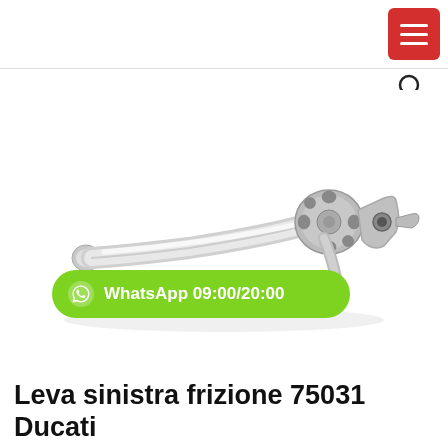[Figure (other): Top navigation bar with red hamburger menu button (top right) and search icon below it]
[Figure (photo): Silver motorcycle clutch lever (left-hand lever, part number 75031) shown on white background. The lever is aluminum/silver colored with a circular adjuster mechanism in the center and a mounting bracket on the right end with a small black bolt.]
WhatsApp 09:00/20:00
Leva sinistra frizione 75031 Ducati Hypermotard 1100